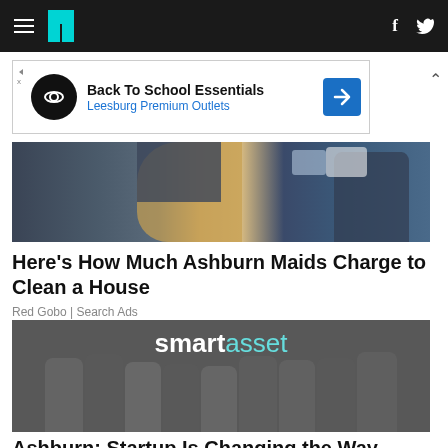HuffPost navigation with hamburger menu, logo, Facebook and Twitter icons
[Figure (infographic): Advertisement banner: Back To School Essentials - Leesburg Premium Outlets with circular logo and blue diamond arrow icon]
[Figure (photo): Partial photo of a person wearing yellow rubber gloves, cleaning a surface, with another person visible in the background holding a device]
Here's How Much Ashburn Maids Charge to Clean a House
Red Gobo | Search Ads
[Figure (photo): Group photo of SmartAsset team members posing in front of a wall with the SmartAsset logo. About 9 people in gray t-shirts and casual clothing.]
Ashburn: Startup Is Changing the Way